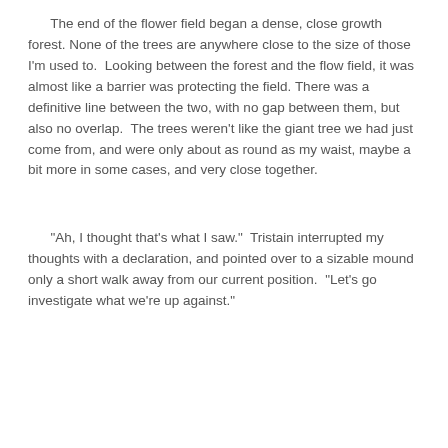The end of the flower field began a dense, close growth forest. None of the trees are anywhere close to the size of those I'm used to.  Looking between the forest and the flow field, it was almost like a barrier was protecting the field. There was a definitive line between the two, with no gap between them, but also no overlap.  The trees weren't like the giant tree we had just come from, and were only about as round as my waist, maybe a bit more in some cases, and very close together.
“Ah, I thought that’s what I saw.”  Tristain interrupted my thoughts with a declaration, and pointed over to a sizable mound only a short walk away from our current position.  “Let’s go investigate what we’re up against.”